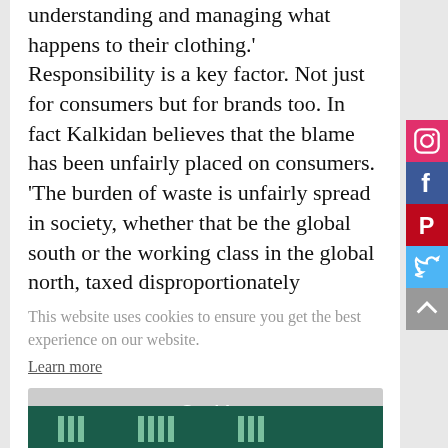understanding and managing what happens to their clothing.' Responsibility is a key factor. Not just for consumers but for brands too. In fact Kalkidan believes that the blame has been unfairly placed on consumers. 'The burden of waste is unfairly spread in society, whether that be the global south or the working class in the global north, taxed disproportionately
This website uses cookies to ensure you get the best experience on our website.
Learn more
Got it!
[Figure (other): Footer banner with dark teal background showing building/pillar icons in a row]